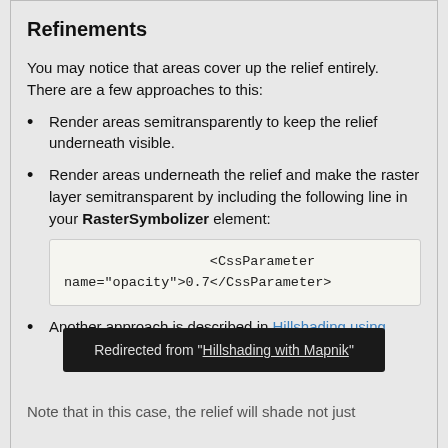Refinements
You may notice that areas cover up the relief entirely. There are a few approaches to this:
Render areas semitransparently to keep the relief underneath visible.
Render areas underneath the relief and make the raster layer semitransparent by including the following line in your RasterSymbolizer element:
<CssParameter name="opacity">0.7</CssParameter>
Another approach is described in Hillshading using
Redirected from "Hillshading with Mapnik"
Note that in this case, the relief will shade not just